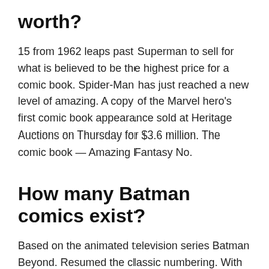worth?
15 from 1962 leaps past Superman to sell for what is believed to be the highest price for a comic book. Spider-Man has just reached a new level of amazing. A copy of the Marvel hero's first comic book appearance sold at Heritage Auctions on Thursday for $3.6 million. The comic book — Amazing Fantasy No.
How many Batman comics exist?
Based on the animated television series Batman Beyond. Resumed the classic numbering. With